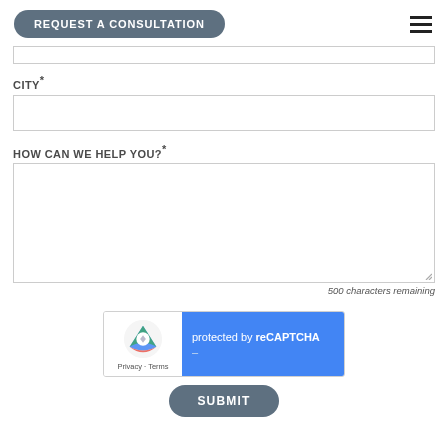REQUEST A CONSULTATION
CITY*
HOW CAN WE HELP YOU?*
500 characters remaining
[Figure (other): reCAPTCHA widget: left side shows Google reCAPTCHA logo with Privacy and Terms links, right side is blue with text 'protected by reCAPTCHA']
SUBMIT